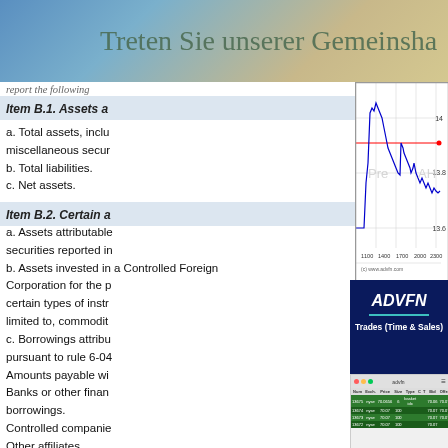Treten Sie unserer Gemeinschaft bei
report the following
Item B.1. Assets a...
a. Total assets, including miscellaneous securities
b. Total liabilities.
c. Net assets.
[Figure (continuous-plot): Stock price line chart showing intraday trading with Pre and AH periods marked. Blue line shows price movement, red horizontal line, y-axis shows values 13.6, 13.8, 14. X-axis shows times 1100, 1400, 1700, 2000, 2300. Source: (c) www.advfn.com]
Item B.2. Certain a...
a. Assets attributable to securities reported in
b. Assets invested in a Controlled Foreign Corporation for the purpose of investing in certain types of instruments, including, but not limited to, commodities
c. Borrowings attributable to pursuant to rule 6-04
Amounts payable wi
Banks or other financial borrowings.
Controlled companies
Other affiliates.
Others.
0.00000000
[Figure (infographic): ADVFN logo with Trades (Time & Sales) label on dark blue background with teal underline]
[Figure (screenshot): Screenshot of ADVFN trading platform showing Trades table with columns: Num, Exch., Price, Size, Type, C, T, Bid, Offer, Time. Rows show trades: 13675 nyse 70.0656 basket idx 70.06 70.07 15:43:5; 13674 nyse 70.07 100 70.07 70.07 15:43:1; 13673 nyse 70.07 100 70.07 70.07 15:43:1]